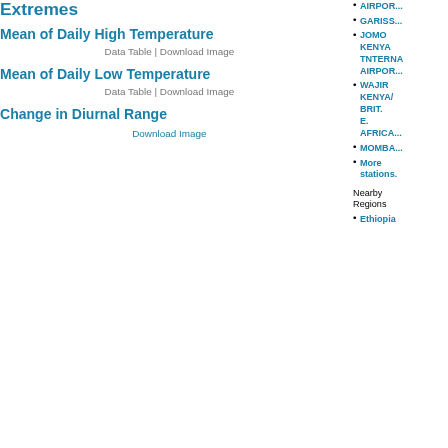Extremes
Mean of Daily High Temperature
Data Table | Download Image
Mean of Daily Low Temperature
Data Table | Download Image
Change in Diurnal Range
Download Image
AIRPOR...
GARISS...
JOMO KENYATTA INTERNATIONAL AIRPORT
WAJIR KENYA/ BRIT. E. AFRICA
MOMBASA
More stations.
Nearby Regions
Ethiopia